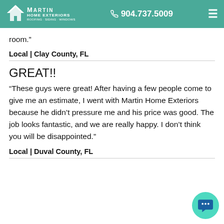Martin Home Exteriors | 904.737.5009
room.”
Local | Clay County, FL
GREAT!!
“These guys were great! After having a few people come to give me an estimate, I went with Martin Home Exteriors because he didn’t pressure me and his price was good. The job looks fantastic, and we are really happy. I don’t think you will be disappointed.”
Local | Duval County, FL